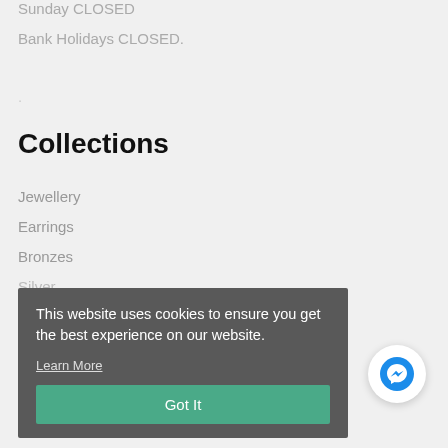Sunday CLOSED
Bank Holidays CLOSED.
.
Collections
Jewellery
Earrings
Bronzes
Silver
Clocks
New In
[Figure (screenshot): Cookie consent banner overlay with text 'This website uses cookies to ensure you get the best experience on our website.', a 'Learn More' underlined link, and a green 'Got It' button. A Facebook Messenger chat icon appears to the right.]
Other Links